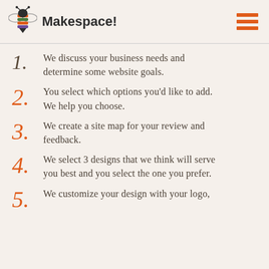Makespace!
We discuss your business needs and determine some website goals.
You select which options you'd like to add. We help you choose.
We create a site map for your review and feedback.
We select 3 designs that we think will serve you best and you select the one you prefer.
We customize your design with your logo,